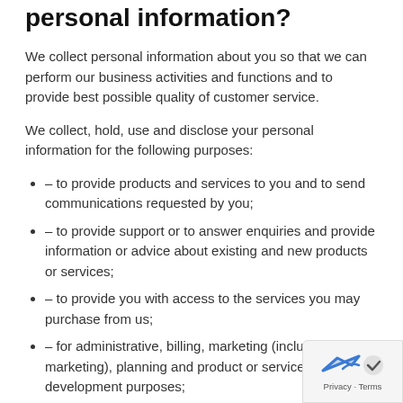personal information?
We collect personal information about you so that we can perform our business activities and functions and to provide best possible quality of customer service.
We collect, hold, use and disclose your personal information for the following purposes:
– to provide products and services to you and to send communications requested by you;
– to provide support or to answer enquiries and provide information or advice about existing and new products or services;
– to provide you with access to the services you may purchase from us;
– for administrative, billing, marketing (including direct marketing), planning and product or service development purposes;